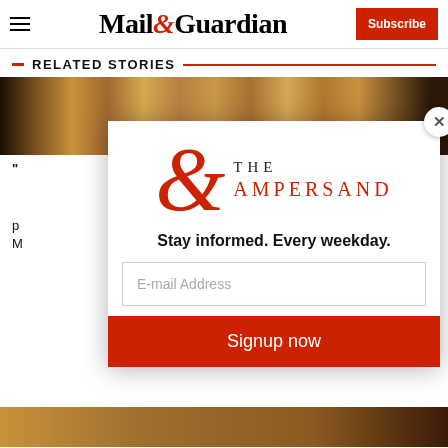Mail&Guardian
RELATED STORIES
[Figure (screenshot): Modal popup overlay on the Mail & Guardian website showing The Ampersand newsletter signup. Large red ampersand logo with 'THE AMPERSAND' text, tagline 'Stay informed. Every weekday.', email address input field, and red 'Signup now' button. Background shows a photo of glasses/whisky and partial article text.]
Stay informed. Every weekday.
E-mail Address
Signup now